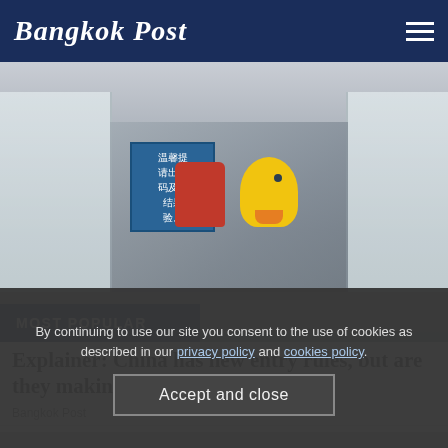Bangkok Post
[Figure (photo): Airport scene showing travelers including children with colorful backpacks (red Adidas and yellow duck-shaped) passing through a health checkpoint staffed by workers in white PPE suits. A blue sign with Chinese text is visible in the background.]
MOST POPULAR
Explainer: China has new entry rules, but are they making travel easier?
Bangkok Post
By continuing to use our site you consent to the use of cookies as described in our privacy policy and cookies policy.
Accept and close